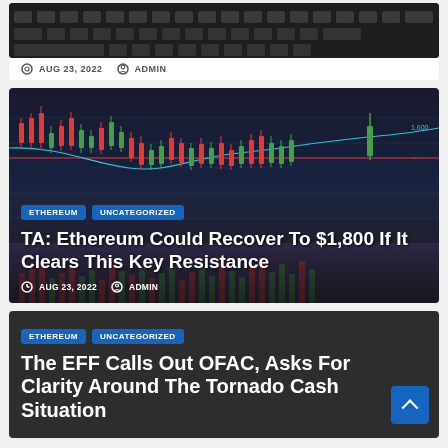[Figure (photo): Keyboard background image strip with meta info: AUG 23, 2022 and ADMIN]
AUG 23, 2022  ADMIN
[Figure (screenshot): Ethereum price candlestick chart with red and teal lines]
ETHEREUM
UNCATEGORIZED
TA: Ethereum Could Recover To $1,800 If It Clears This Key Resistance
AUG 23, 2022  ADMIN
[Figure (photo): Dark background card for EFF article]
ETHEREUM
UNCATEGORIZED
The EFF Calls Out OFAC, Asks For Clarity Around The Tornado Cash Situation